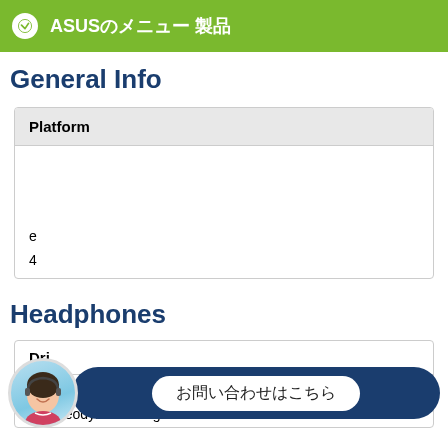ASUSのメニュー 製品
General Info
| Platform |
| --- |
|  |
| e |
| 4 |
Headphones
| Dri |
| --- |
| te |
| ial : Neodymium magnet |
[Figure (other): Chat support overlay with female avatar and speech bubble containing Japanese text: お問い合わせはこちら]